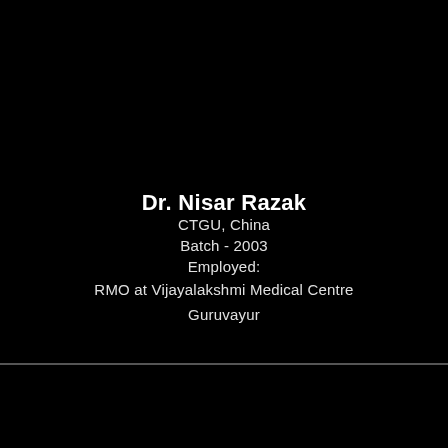Dr. Nisar Razak
CTGU, China
Batch - 2003
Employed:
RMO at Vijayalakshmi Medical Centre
Guruvayur